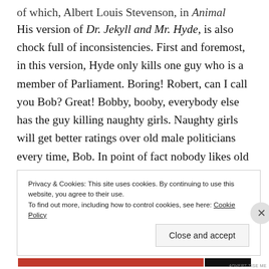His version of Dr. Jekyll and Mr. Hyde, is also chock full of inconsistencies. First and foremost, in this version, Hyde only kills one guy who is a member of Parliament. Boring! Robert, can I call you Bob? Great! Bobby, booby, everybody else has the guy killing naughty girls. Naughty girls will get better ratings over old male politicians every time, Bob. In point of fact nobody likes old white guys. There is no sympathy at all. If somebody started killing old, white politicians, he'd probably get a medal not get thrown in prison. I'm
Privacy & Cookies: This site uses cookies. By continuing to use this website, you agree to their use. To find out more, including how to control cookies, see here: Cookie Policy